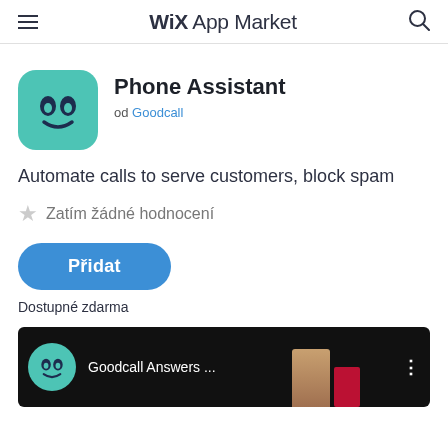WiX App Market
Phone Assistant
od Goodcall
Automate calls to serve customers, block spam
Zatím žádné hodnocení
Přidat
Dostupné zdarma
[Figure (screenshot): Video preview thumbnail showing Goodcall logo circle and text 'Goodcall Answers ...' on dark background with a person visible]